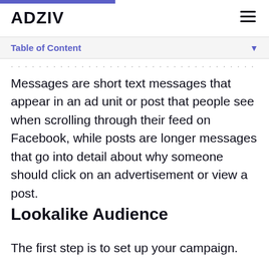ADZIV
Table of Content
Messages are short text messages that appear in an ad unit or post that people see when scrolling through their feed on Facebook, while posts are longer messages that go into detail about why someone should click on an advertisement or view a post.
Lookalike Audience
The first step is to set up your campaign.